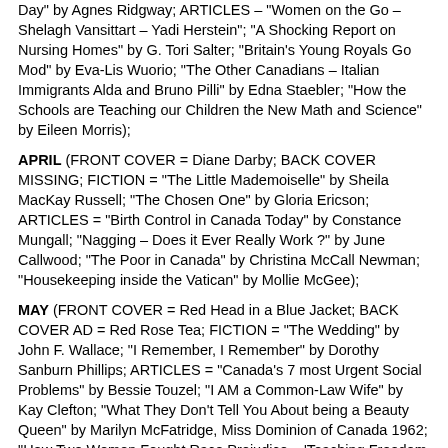Day" by Agnes Ridgway; ARTICLES – "Women on the Go – Shelagh Vansittart – Yadi Herstein"; "A Shocking Report on Nursing Homes" by G. Tori Salter; "Britain's Young Royals Go Mod" by Eva-Lis Wuorio; "The Other Canadians – Italian Immigrants Alda and Bruno Pilli" by Edna Staebler; "How the Schools are Teaching our Children the New Math and Science" by Eileen Morris);
APRIL (FRONT COVER = Diane Darby; BACK COVER MISSING; FICTION = "The Little Mademoiselle" by Sheila MacKay Russell; "The Chosen One" by Gloria Ericson; ARTICLES = "Birth Control in Canada Today" by Constance Mungall; "Nagging – Does it Ever Really Work ?" by June Callwood; "The Poor in Canada" by Christina McCall Newman; "Housekeeping inside the Vatican" by Mollie McGee);
MAY (FRONT COVER = Red Head in a Blue Jacket; BACK COVER AD = Red Rose Tea; FICTION = "The Wedding" by John F. Wallace; "I Remember, I Remember" by Dorothy Sanburn Phillips; ARTICLES = "Canada's 7 most Urgent Social Problems" by Bessie Touzel; "I AM a Common-Law Wife" by Kay Clefton; "What They Don't Tell You About being a Beauty Queen" by Marilyn McFatridge, Miss Dominion of Canada 1962; "How Two Women Fought Race Prejudice – 'Teaching Freedom in Mississippi' by Florence Jones - "Growing Up Prejudiced in Ontario' by Doreen Mowers"; "Mrs. Chatelaine 1965 – Leone Ross of Charlottetown, P.E.I.");
JUNE (FRONT COVER = Brunette with a Blue Headband; BACK COVER AD = Tab by Coca-Cola; FICTION = "The Instant Love" by Katherine Marcuse; "The Crisis Summer" by Sheila MacKay Russell; ARTICLES = "Famous Families of Canada – The Crosses of Alberta"part 1 of 3 by Catherine Philip; "Marriage isn't for Every Woman" by Dr. Margaret Mead; "Why Did Society Let this Baby Die ?" by Margaret